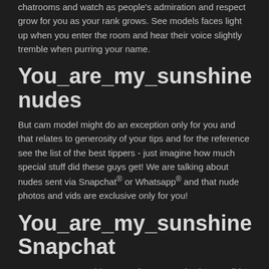chatrooms and watch as people's admiration and respect grow for you as your rank grows. See models faces light up when you enter the room and hear their voice slightly tremble when purring your name.
You_are_my_sunshine nudes
But cam model might do an exception only for you and that relates to generosity of your tips and for the reference see the list of the best tippers - just imagine how much special stuff did these guys get! We are talking about nudes sent via Snapchat® or Whatsapp® and that nude photos and vids are exclusive only for you!
You_are_my_sunshine Snapchat
You_are_my_sunshine snapchat contact is also possible to obtain, as an advanced feature and also direct contact via this